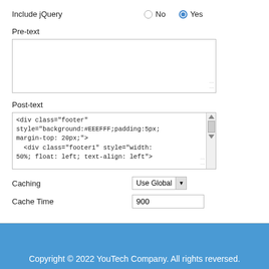Include jQuery    No    Yes
Pre-text
[Figure (screenshot): Empty textarea input box for Pre-text field]
Post-text
[Figure (screenshot): Textarea with code: <div class="footer" style="background:#EEEFFF;padding:5px; margin-top: 20px;">  <div class="footer1" style="width: 50%; float: left; text-align: left"> with scrollbar on right]
Caching
[Figure (screenshot): Dropdown select box showing 'Use Global']
Cache Time
[Figure (screenshot): Input text field showing value 900]
Copyright © 2022 YouTech Company. All rights reversed.